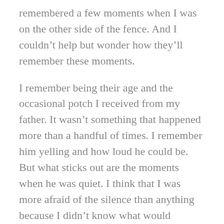remembered a few moments when I was on the other side of the fence. And I couldn't help but wonder how they'll remember these moments.
I remember being their age and the occasional potch I received from my father. It wasn't something that happened more than a handful of times. I remember him yelling and how loud he could be. But what sticks out are the moments when he was quiet. I think that I was more afraid of the silence than anything because I didn't know what would happen.
It occurs to me that my son said something about that. I don't yell very often because I don't have to. They really are good kids. Not to mention that